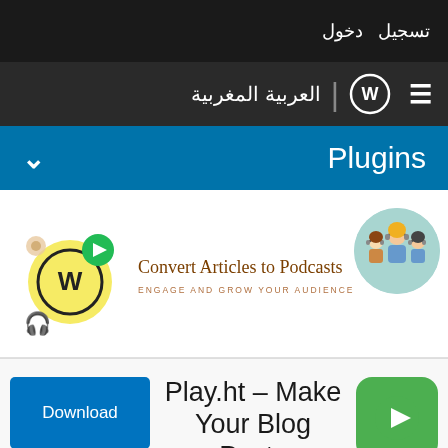تسجيل  دخول
العربية المغربية | WordPress
Plugins
[Figure (screenshot): Plugin banner for Convert Articles to Podcasts showing WordPress logo with headphones and media icons, plugin title 'Convert Articles to Podcasts', subtitle 'ENGAGE AND GROW YOUR AUDIENCE', and an illustration of people with headphones]
Download  Play.ht – Make Your Blog Posts Accessible With